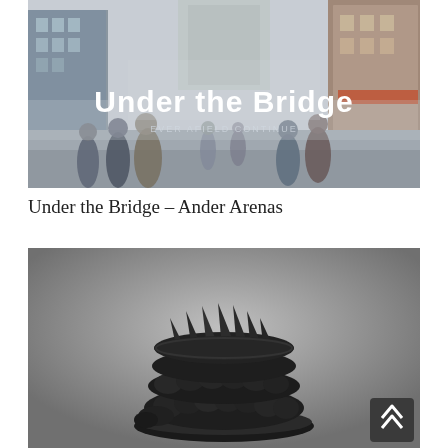[Figure (photo): Street scene with crowds of people walking in an urban setting with buildings on both sides. Overlaid white bold text reads 'Under the Bridge'.]
Under the Bridge – Ander Arenas
[Figure (photo): Close-up photo of a dark black sculptural object resembling a layered crown or ring with spiky protrusions, sitting on a dark circular base, on a grey background.]